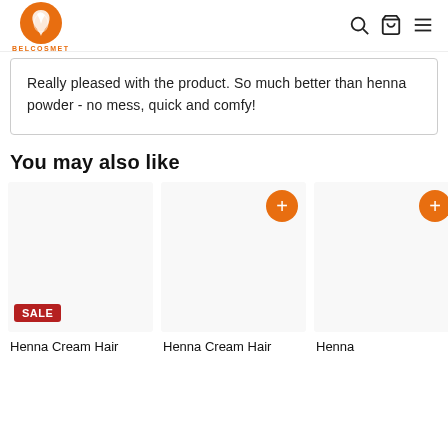BELCOSMET
Really pleased with the product. So much better than henna powder - no mess, quick and comfy!
You may also like
[Figure (other): Product card area with add-to-cart buttons and SALE badge]
Henna Cream Hair
Henna Cream Hair
Henna